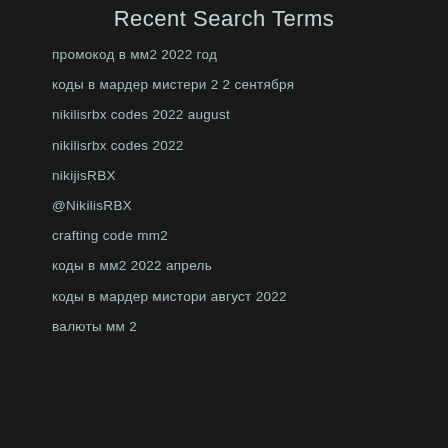Recent Search Terms
промокод в мм2 2022 год
коды в мардер мистери 2 2 сентября
nikilisrbx codes 2022 august
nikilisrbx codes 2022
nikijisRBX
@NikilisRBX
crafting code mm2
коды в мм2 2022 апрель
коды в мардер мистори август 2022
валюты мм 2